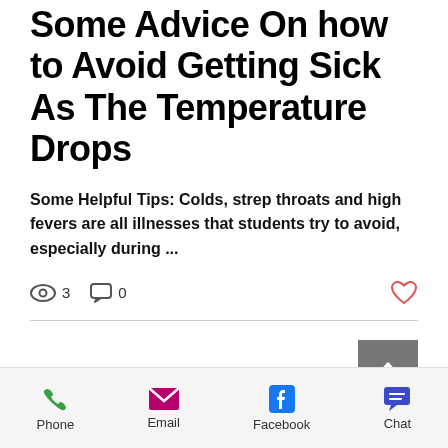Some Advice On how to Avoid Getting Sick As The Temperature Drops
Some Helpful Tips: Colds, strep throats and high fevers are all illnesses that students try to avoid, especially during ...
[Figure (infographic): View count icon with 3, comment icon with 0, heart/like icon on the right]
[Figure (infographic): Scroll-to-top button (grey square with upward chevron)]
[Figure (infographic): Footer bar with Phone (green phone icon), Email (magenta envelope icon), Facebook (blue F icon), Chat (blue speech bubble icon)]